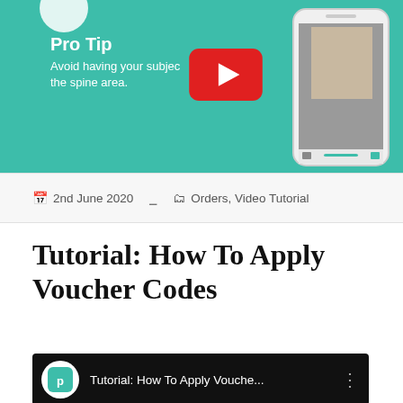[Figure (screenshot): Teal-colored promotional banner with 'Pro Tip' text, YouTube play button overlay, and phone mockup showing a photo book app interface.]
2nd June 2020   Orders, Video Tutorial
Tutorial: How To Apply Voucher Codes
[Figure (screenshot): YouTube video thumbnail showing 'Tutorial: How To Apply Vouche...' with Pixajoy logo circle on black background.]